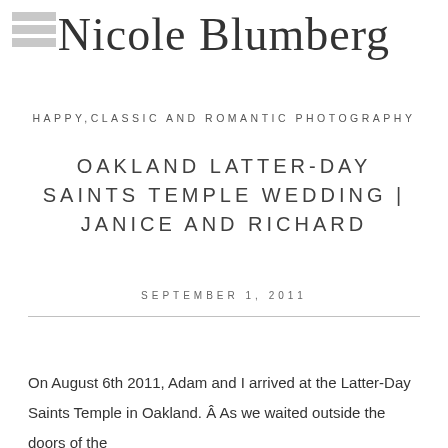[Figure (logo): Nicole Blumberg photography blog logo with cursive script text and hamburger menu icon in top left]
HAPPY, CLASSIC AND ROMANTIC PHOTOGRAPHY
OAKLAND LATTER-DAY SAINTS TEMPLE WEDDING | JANICE AND RICHARD
SEPTEMBER 1, 2011
On August 6th 2011, Adam and I arrived at the Latter-Day Saints Temple in Oakland. Â As we waited outside the doors of the